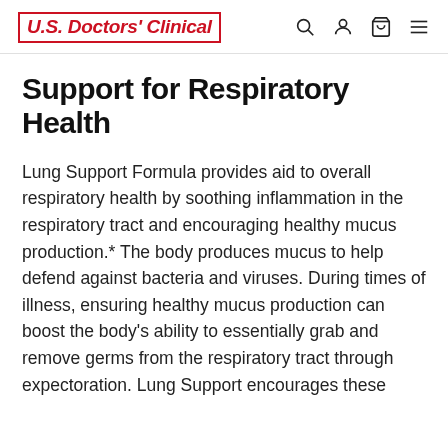U.S. Doctors' Clinical
Support for Respiratory Health
Lung Support Formula provides aid to overall respiratory health by soothing inflammation in the respiratory tract and encouraging healthy mucus production.* The body produces mucus to help defend against bacteria and viruses. During times of illness, ensuring healthy mucus production can boost the body's ability to essentially grab and remove germs from the respiratory tract through expectoration. Lung Support encourages these